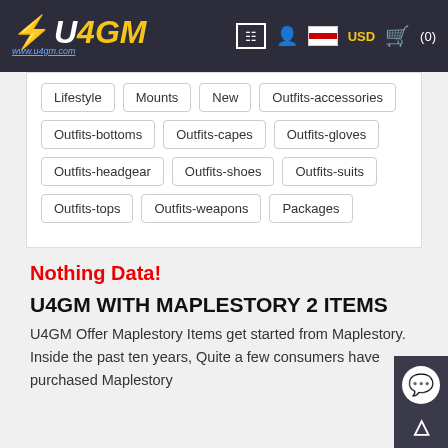U4GM - www.u4gm.com | USD | Cart (0)
Lifestyle
Mounts
New
Outfits-accessories
Outfits-bottoms
Outfits-capes
Outfits-gloves
Outfits-headgear
Outfits-shoes
Outfits-suits
Outfits-tops
Outfits-weapons
Packages
Nothing Data!
U4GM WITH MAPLESTORY 2 ITEMS
U4GM Offer Maplestory Items get started from Maplestory. Inside the past ten years, Quite a few consumers have purchased Maplestory